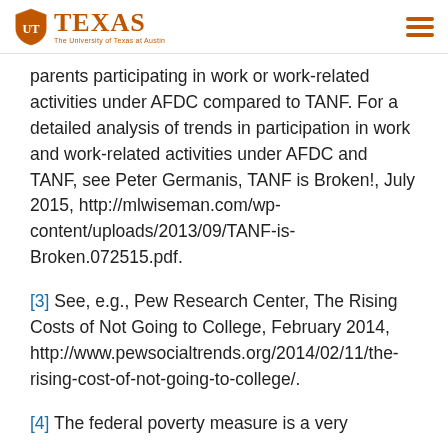The University of Texas at Austin
parents participating in work or work-related activities under AFDC compared to TANF. For a detailed analysis of trends in participation in work and work-related activities under AFDC and TANF, see Peter Germanis, TANF is Broken!, July 2015, http://mlwiseman.com/wp-content/uploads/2013/09/TANF-is-Broken.072515.pdf.
[3] See, e.g., Pew Research Center, The Rising Costs of Not Going to College, February 2014, http://www.pewsocialtrends.org/2014/02/11/the-rising-cost-of-not-going-to-college/.
[4] The federal poverty measure is a very